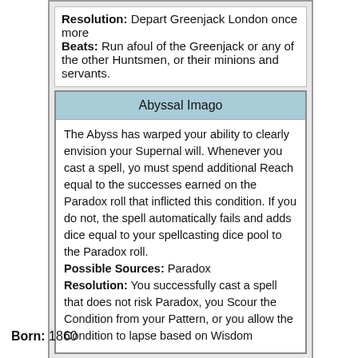Resolution: Depart Greenjack London once more
Beats: Run afoul of the Greenjack or any of the other Huntsmen, or their minions and servants.
Abyssal Imago
The Abyss has warped your ability to clearly envision your Supernal will. Whenever you cast a spell, yo must spend additional Reach equal to the successes earned on the Paradox roll that inflicted this condition. If you do not, the spell automatically fails and adds dice equal to your spellcasting dice pool to the Paradox roll.
Possible Sources: Paradox
Resolution: You successfully cast a spell that does not risk Paradox, you Scour the Condition from your Pattern, or you allow the Condition to lapse based on Wisdom
Born: 1860